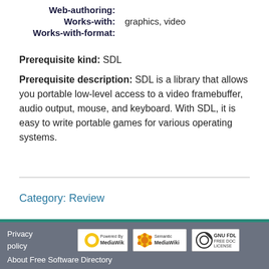Web-authoring:
Works-with: graphics, video
Works-with-format:
Prerequisite kind: SDL
Prerequisite description: SDL is a library that allows you portable low-level access to a video framebuffer, audio output, mouse, and keyboard. With SDL, it is easy to write portable games for various operating systems.
Category: Review
Privacy policy  About Free Software Directory